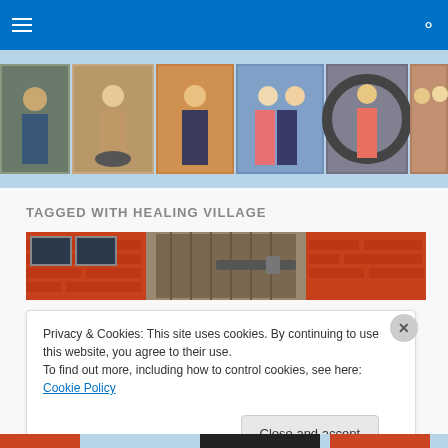Navigation bar with hamburger menu and search icon
[Figure (photo): Horizontal strip of photos showing various people in outdoor settings]
TAGGED WITH HEALING VILLAGE
[Figure (photo): Wide article banner image showing red brick buildings with weathered wooden door/shutters]
Privacy & Cookies: This site uses cookies. By continuing to use this website, you agree to their use.
To find out more, including how to control cookies, see here: Cookie Policy
Close and accept